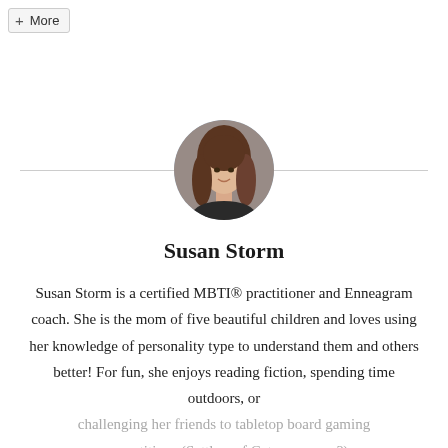+ More
[Figure (photo): Circular avatar photo of Susan Storm, a young woman with long auburn/brown hair, smiling, against a grey background.]
Susan Storm
Susan Storm is a certified MBTI® practitioner and Enneagram coach. She is the mom of five beautiful children and loves using her knowledge of personality type to understand them and others better! For fun, she enjoys reading fiction, spending time outdoors, or challenging her friends to tabletop board gaming competitions (Settlers of Catan, anyone?).